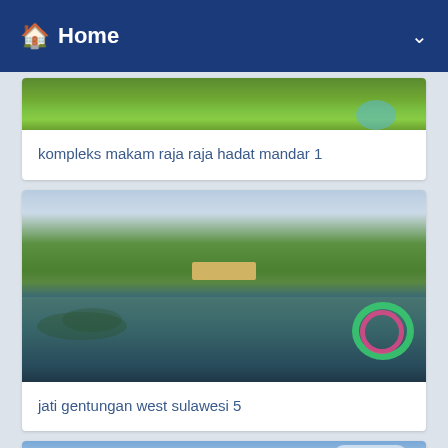Home
[Figure (photo): Aerial view of green landscape - kompleks makam raja raja hadat mandar]
kompleks makam raja raja hadat mandar 1
[Figure (photo): Lake with lily pads and forest reflection with colorful decorations - jati gentungan west sulawesi]
jati gentungan west sulawesi 5
[Figure (photo): Sky and green hills landscape - partially visible]